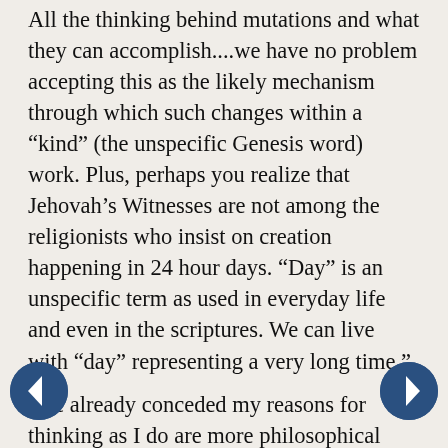All the thinking behind mutations and what they can accomplish....we have no problem accepting this as the likely mechanism through which such changes within a “kind” (the unspecific Genesis word) work. Plus, perhaps you realize that Jehovah’s Witnesses are not among the religionists who insist on creation happening in 24 hour days. “Day” is an unspecific term as used in everyday life and even in the scriptures. We can live with “day” representing a very long time.”
I’ve already conceded my reasons for thinking as I do are more philosophical than scientific. The attractiveness and (in my mind) reasonableness of the first outweigh the mixed reviews of the second. I am content if science does not categorically disprove God, which I think is the present state of affairs